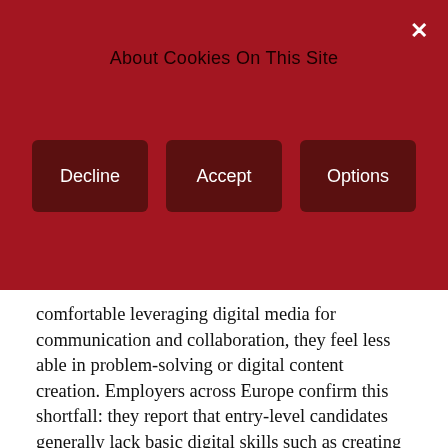About Cookies On This Site
Decline
Accept
Options
comfortable leveraging digital media for communication and collaboration, they feel less able in problem-solving or digital content creation. Employers across Europe confirm this shortfall: they report that entry-level candidates generally lack basic digital skills such as creating a presentation, using calculation tables and office software. Potentially more consequential is the lack of competency in data protection and privacy, where more than 50% of companies note that their apprentices have insufficient knowledge.
Christian Leutner, Vice President, Head of Product Sales Europe at Fujitsu, says: "There's a perception that today's generations of digital natives naturally acquire